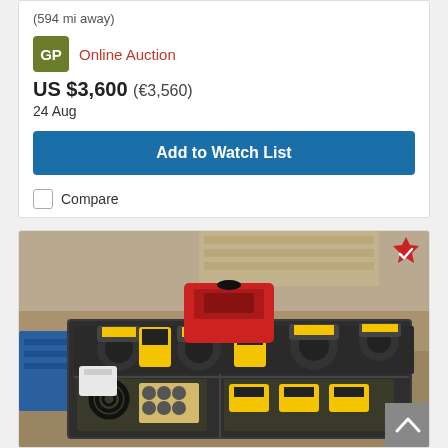(594 mi away)
Online Auction
US $3,600 (€3,560)
24 Aug
Add to Watch List
Compare
[Figure (photo): A toolbox/case filled with DeWalt power tools (circular saws, drills, batteries), coiled black cables, sockets, and accessories, with a red Honda generator on top. Items are outdoors on sandy/dirt ground. A blue pallet is visible on the left edge. A verified badge (red star with checkmark) is shown in the upper right corner of the photo.]